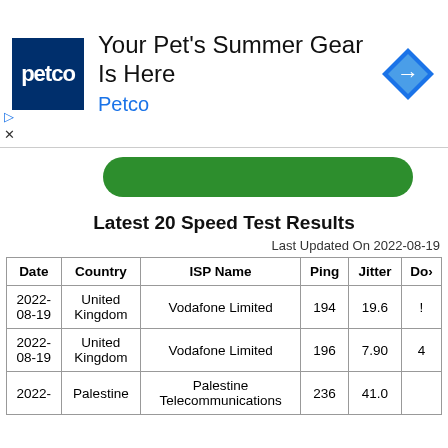[Figure (screenshot): Petco advertisement banner with logo, text 'Your Pet's Summer Gear Is Here', 'Petco' in blue, and a navigation arrow icon]
[Figure (screenshot): Green rounded button bar partially visible, with a caret/chevron-up button on the left]
Latest 20 Speed Test Results
Last Updated On 2022-08-19
| Date | Country | ISP Name | Ping | Jitter | Do… |
| --- | --- | --- | --- | --- | --- |
| 2022-08-19 | United Kingdom | Vodafone Limited | 194 | 19.6 | ! |
| 2022-08-19 | United Kingdom | Vodafone Limited | 196 | 7.90 | 4 |
| 2022- | Palestine | Palestine Telecommunications | 236 | 41.0 |  |